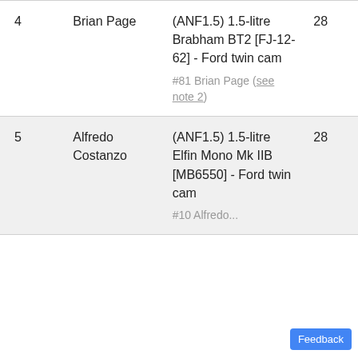| 4 | Brian Page | (ANF1.5) 1.5-litre Brabham BT2 [FJ-12-62] - Ford twin cam
#81 Brian Page (see note 2) | 28 |
| 5 | Alfredo Costanzo | (ANF1.5) 1.5-litre Elfin Mono Mk IIB [MB6550] - Ford twin cam
#10 Alfredo... | 28 |